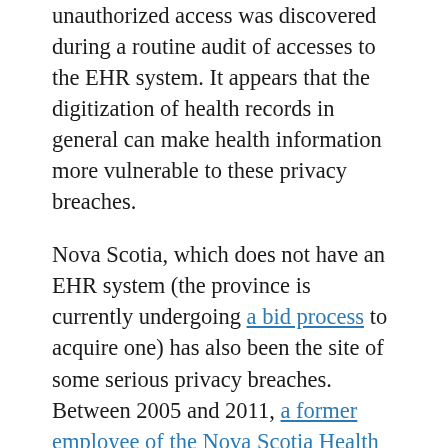unauthorized access was discovered during a routine audit of accesses to the EHR system. It appears that the digitization of health records in general can make health information more vulnerable to these privacy breaches.
Nova Scotia, which does not have an EHR system (the province is currently undergoing a bid process to acquire one) has also been the site of some serious privacy breaches. Between 2005 and 2011, a former employee of the Nova Scotia Health Authority (then called Capital District Health Authority) accessed, without authorization, the information of approximately 100 friends and family members. This has resulted in a class action lawsuit with a proposed settlement worth about $400,000